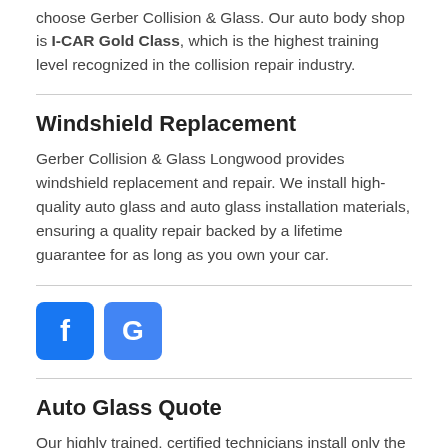choose Gerber Collision & Glass. Our auto body shop is I-CAR Gold Class, which is the highest training level recognized in the collision repair industry.
Windshield Replacement
Gerber Collision & Glass Longwood provides windshield replacement and repair. We install high-quality auto glass and auto glass installation materials, ensuring a quality repair backed by a lifetime guarantee for as long as you own your car.
[Figure (logo): Facebook icon (blue square with white 'f') and Google icon (blue square with white 'G')]
Auto Glass Quote
Our highly trained, certified technicians install only the highest quality auto glass and sealants to ensure your new windshield performs as expected. Get an online windshield replacement